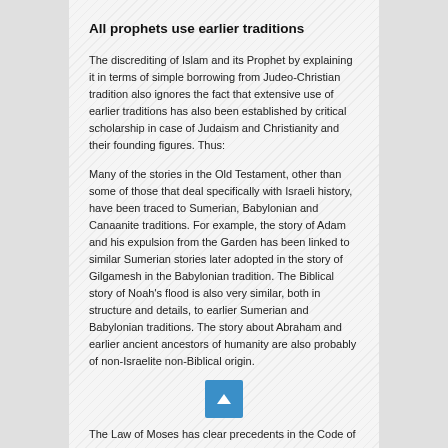All prophets use earlier traditions
The discrediting of Islam and its Prophet by explaining it in terms of simple borrowing from Judeo-Christian tradition also ignores the fact that extensive use of earlier traditions has also been established by critical scholarship in case of Judaism and Christianity and their founding figures. Thus:
Many of the stories in the Old Testament, other than some of those that deal specifically with Israeli history, have been traced to Sumerian, Babylonian and Canaanite traditions. For example, the story of Adam and his expulsion from the Garden has been linked to similar Sumerian stories later adopted in the story of Gilgamesh in the Babylonian tradition. The Biblical story of Noah's flood is also very similar, both in structure and details, to earlier Sumerian and Babylonian traditions. The story about Abraham and earlier ancient ancestors of humanity are also probably of non-Israelite non-Biblical origin.
The Law of Moses has clear precedents in the Code of